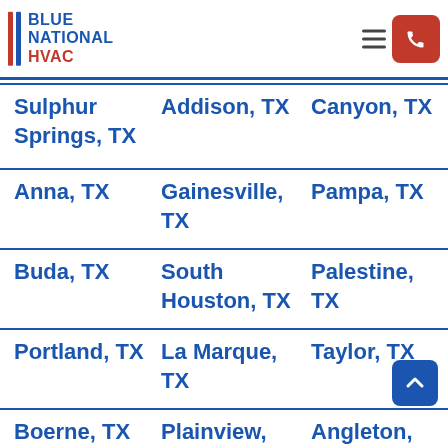[Figure (logo): Blue National HVAC logo with vertical red and blue bars and bold text]
Sulphur Springs, TX | Addison, TX | Canyon, TX
Anna, TX | Gainesville, TX | Pampa, TX
Buda, TX | South Houston, TX | Palestine, TX
Portland, TX | La Marque, TX | Taylor, TX
Boerne, TX | Plainview, TX | Angleton, TX